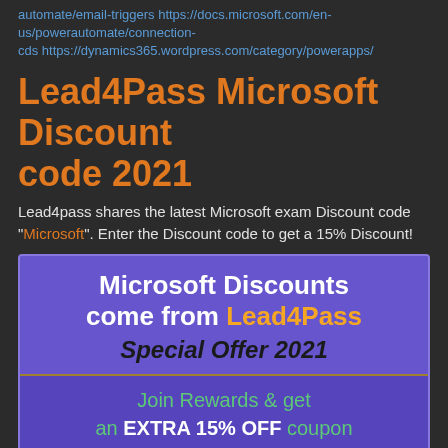automate/email-triggers https://docs.microsoft.com/en-us/powerautomate/connection-cds https://dynamics365.wordpress.com/category/powerapps/
Lead4Pass Microsoft Discount code 2021
Lead4pass shares the latest Microsoft exam Discount code "Microsoft". Enter the Discount code to get a 15% Discount!
[Figure (infographic): Purple promotional banner for Lead4Pass Microsoft Discounts Special Offer 2021, with a lower section showing Join Rewards & get an EXTRA 15% OFF coupon, and a green button with Microsoft text.]